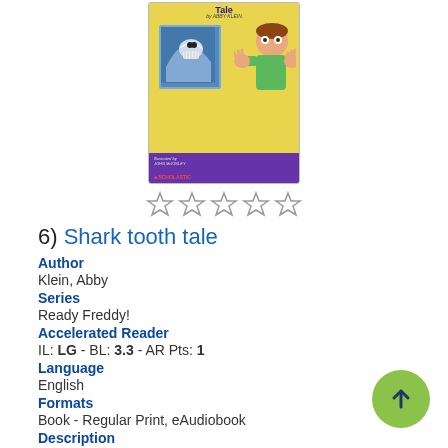[Figure (illustration): Book cover for 'Shark tooth tale' by Abby Klein, illustrated by John McKinley, published by Scholastic. Yellow cover with a boy and a shark in a frame.]
[Figure (other): Five empty star rating icons in a row]
6) Shark tooth tale
Author
Klein, Abby
Series
Ready Freddy!
Accelerated Reader
IL: LG - BL: 3.3 - AR Pts: 1
Language
English
Formats
Book - Regular Print, eAudiobook
Description